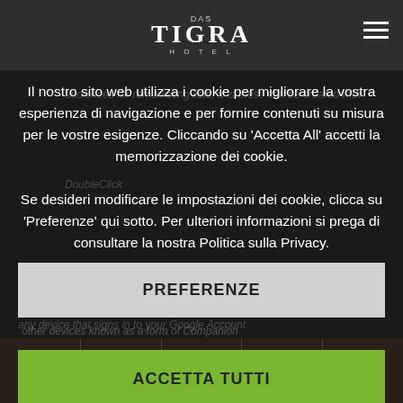[Figure (screenshot): Hotel Tigra website header with logo and hamburger menu]
Il nostro sito web utilizza i cookie per migliorare la vostra esperienza di navigazione e per fornire contenuti su misura per le vostre esigenze. Cliccando su 'Accetta All' accetti la memorizzazione dei cookie.
Se desideri modificare le impostazioni dei cookie, clicca su 'Preferenze' qui sotto. Per ulteriori informazioni si prega di consultare la nostra Politica sulla Privacy.
PREFERENZE
ACCETTA TUTTI